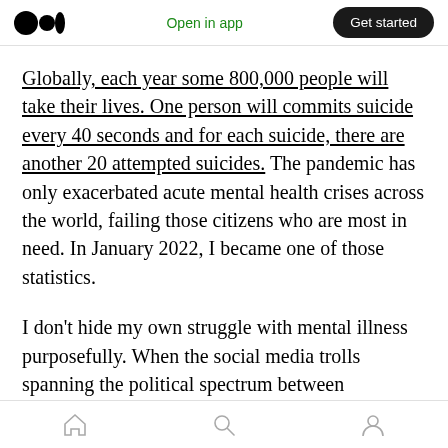Medium logo | Open in app | Get started
Globally, each year some 800,000 people will take their lives. One person will commits suicide every 40 seconds and for each suicide, there are another 20 attempted suicides. The pandemic has only exacerbated acute mental health crises across the world, failing those citizens who are most in need. In January 2022, I became one of those statistics.
I don't hide my own struggle with mental illness purposefully. When the social media trolls spanning the political spectrum between
Home | Search | Profile